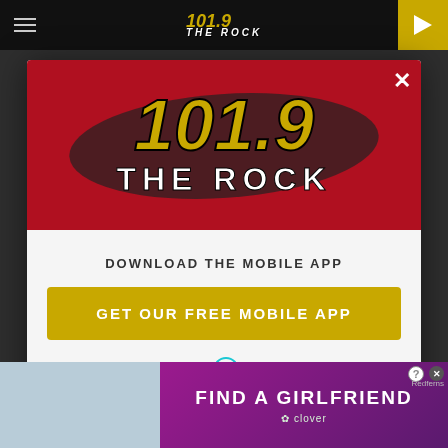101.9 THE ROCK
[Figure (screenshot): Modal popup overlay for 101.9 The Rock radio station website showing logo, download app prompt, and Amazon Alexa option]
101.9 THE ROCK
DOWNLOAD THE MOBILE APP
GET OUR FREE MOBILE APP
Also listen on: amazon alexa
[Figure (advertisement): Bottom ad banner: FIND A GIRLFRIEND with clover branding]